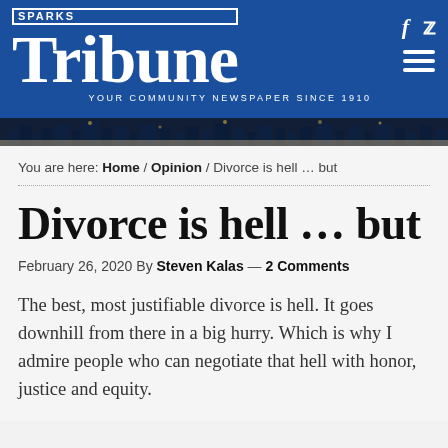SPARKS Tribune — YOUR COMMUNITY NEWSPAPER SINCE 1910
[Figure (photo): City night skyline strip banner]
You are here: Home / Opinion / Divorce is hell … but
Divorce is hell … but
February 26, 2020 By Steven Kalas — 2 Comments
The best, most justifiable divorce is hell. It goes downhill from there in a big hurry. Which is why I admire people who can negotiate that hell with honor, justice and equity.